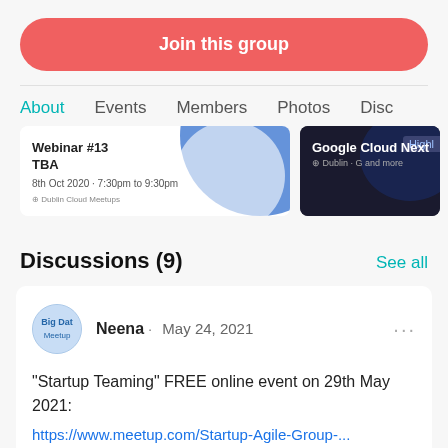Join this group
About  Events  Members  Photos  Disc
[Figure (screenshot): Two event cards side by side: left card shows 'Webinar #13 TBA, 8th Oct 2020 · 7:30pm to 9:30pm' on blue/white background; right card shows 'Google Cloud Next' on dark background with 'Highl' text clipped]
Discussions (9)
See all
Neena · May 24, 2021
"Startup Teaming" FREE online event on 29th May 2021:
https://www.meetup.com/Startup-Agile-Group-...